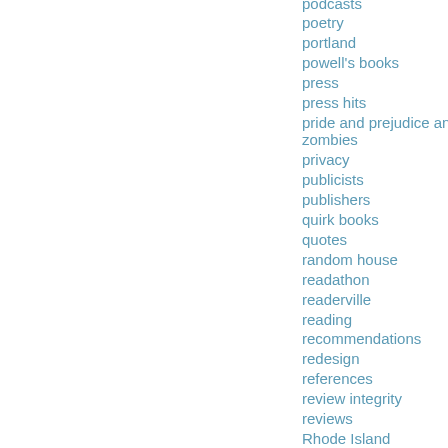podcasts
poetry
portland
powell's books
press
press hits
pride and prejudice and zombies
privacy
publicists
publishers
quirk books
quotes
random house
readathon
readerville
reading
recommendations
redesign
references
review integrity
reviews
Rhode Island
RI
rss
sale
santathing
scaling
science
science libraries
screencasts
screensavers
search